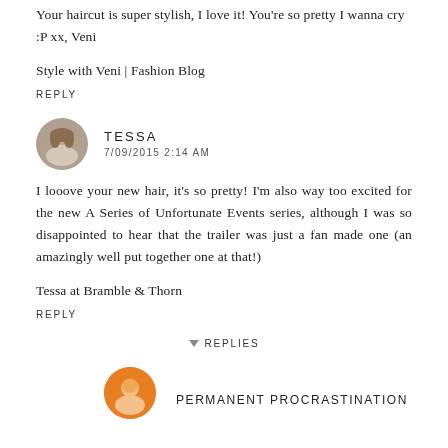Your haircut is super stylish, I love it! You're so pretty I wanna cry :P xx, Veni
Style with Veni | Fashion Blog
REPLY
TESSA
7/09/2015 2:14 AM
I looove your new hair, it's so pretty! I'm also way too excited for the new A Series of Unfortunate Events series, although I was so disappointed to hear that the trailer was just a fan made one (an amazingly well put together one at that!)
Tessa at Bramble & Thorn
REPLY
REPLIES
PERMANENT PROCRASTINATION